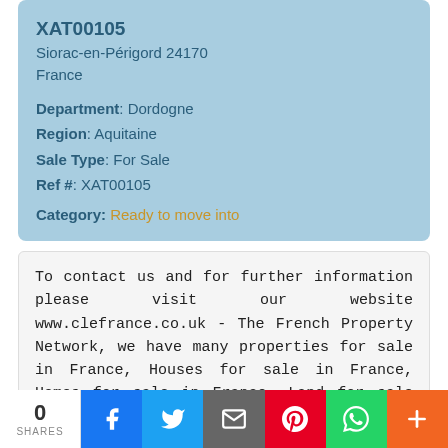XAT00105
Siorac-en-Périgord 24170
France
Department: Dordogne
Region: Aquitaine
Sale Type: For Sale
Ref #: XAT00105
Category: Ready to move into
To contact us and for further information please visit our website www.clefrance.co.uk - The French Property Network, we have many properties for sale in France, Houses for sale in France, Homes for sale in France, Land for sale in France, Lakes for sale in France. Brittany, Normandy, Pays de la Loire, Poitou Charentes, Aquitaine, Midi Pyrenees, Cote d'Azur and all across France by Cle France -
0 SHARES